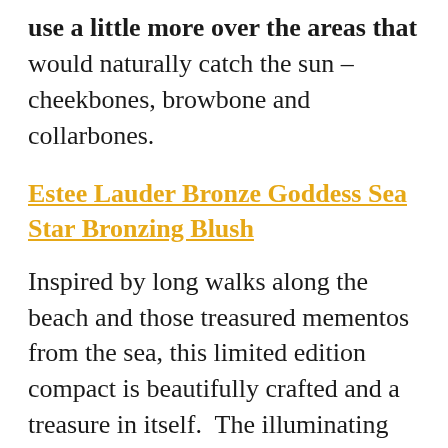use a little more over the areas that would naturally catch the sun – cheekbones, browbone and collarbones.
Estee Lauder Bronze Goddess Sea Star Bronzing Blush
Inspired by long walks along the beach and those treasured mementos from the sea, this limited edition compact is beautifully crafted and a treasure in itself.  The illuminating blush adds a sun-kissed glow to an already tanned complexion and will take any skin from flat-looking to radiant in seconds.  The coverage is very light, but buildable so if you prefer a stronger color, blend a second time for a deeper shade. Use over a bronzer to add a sexy iridescent sheen for evenings.